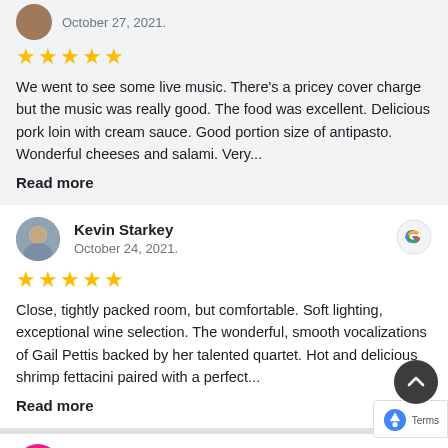October 27, 2021.
[Figure (other): Five gold star rating]
We went to see some live music. There's a pricey cover charge but the music was really good. The food was excellent. Delicious pork loin with cream sauce. Good portion size of antipasto. Wonderful cheeses and salami. Very...
Read more
Kevin Starkey
October 24, 2021.
[Figure (other): Five gold star rating]
Close, tightly packed room, but comfortable. Soft lighting, exceptional wine selection. The wonderful, smooth vocalizations of Gail Pettis backed by her talented quartet. Hot and delicious shrimp fettacini paired with a perfect...
Read more
[Figure (logo): Google G logo]